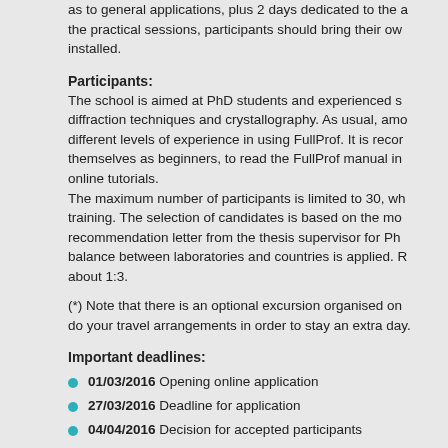The school lasts 4½ days: 2 days dedicated to have a general view as to general applications, plus 2 days dedicated to the advanced. For the practical sessions, participants should bring their own laptops with installed.
Participants:
The school is aimed at PhD students and experienced scientists in diffraction techniques and crystallography. As usual, among participants different levels of experience in using FullProf. It is recommended themselves as beginners, to read the FullProf manual in online tutorials.
The maximum number of participants is limited to 30, which ensures training. The selection of candidates is based on the motivation letter and recommendation letter from the thesis supervisor for PhD. A geographical balance between laboratories and countries is applied. Ratio PhD students about 1:3.
(*) Note that there is an optional excursion organised on do your travel arrangements in order to stay an extra day.
Important deadlines:
01/03/2016 Opening online application
27/03/2016 Deadline for application
04/04/2016 Decision for accepted participants
25/04/2016 Deadline for registration